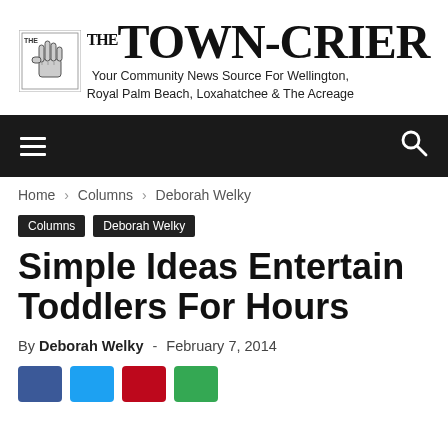[Figure (logo): The Town-Crier newspaper logo with hand icon, bold serif masthead text, and tagline 'Your Community News Source For Wellington, Royal Palm Beach, Loxahatchee & The Acreage']
Home › Columns › Deborah Welky
Columns
Deborah Welky
Simple Ideas Entertain Toddlers For Hours
By Deborah Welky - February 7, 2014